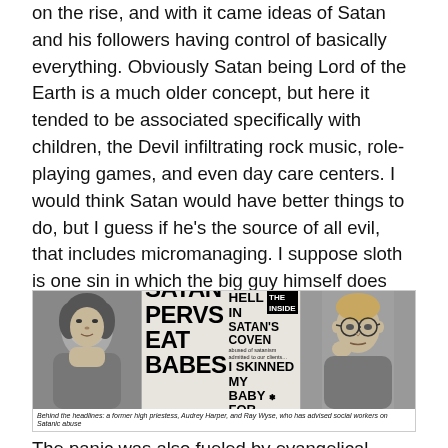on the rise, and with it came ideas of Satan and his followers having control of basically everything. Obviously Satan being Lord of the Earth is a much older concept, but here it tended to be associated specifically with children, the Devil infiltrating rock music, role-playing games, and even day care centers. I would think Satan would have better things to do, but I guess if he’s the source of all evil, that includes micromanaging. I suppose sloth is one sin in which the big guy himself does not partake.
[Figure (photo): Newspaper clipping collage showing tabloid headlines: 'SATAN PERVS EAT BABES', 'RAPE HELL IN SATAN’S COVEN', 'I SKINNED MY BABY FOR SATAN', with photos of a woman (Audrey Harper) on the left and a man with glasses (Ray Wyse) on the right.]
Behind the headlines: a former high priestess, Audrey Harper, and Ray Wyse, who has advised social workers on Satanic abuse
The panic was also fueled by evangelical Christians who